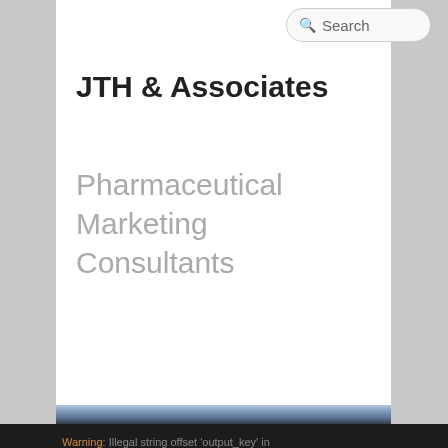Search
JTH & Associates
Pharmaceutical Marketing Consultants
[Figure (photo): Banner image showing outdoor scene with trees, partially visible at the top of the dark section]
Warning: Illegal string offset 'output_key' in /home/jthass5/public_html/wp-includes/nav-menu.php on line 504
Warning: Illegal string offset 'output_key' in /home/jthass5/public_html/wp-includes/nav-menu.php on line 504
Warning: Illegal string offset 'output_key' in /home/jthass5/public_html/wp-includes/nav-menu.php on line